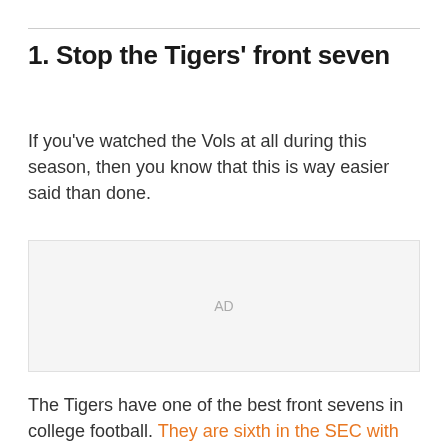1. Stop the Tigers' front seven
If you've watched the Vols at all during this season, then you know that this is way easier said than done.
[Figure (other): Advertisement placeholder area labeled AD]
The Tigers have one of the best front sevens in college football. They are sixth in the SEC with 415 sacks and